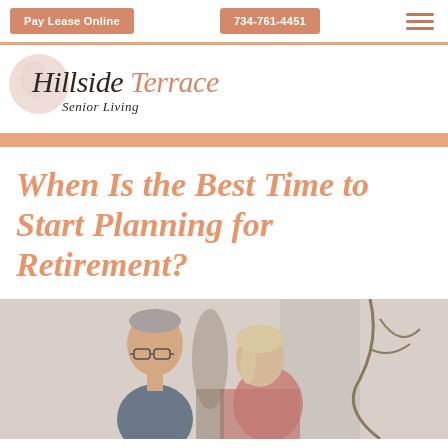Pay Lease Online | 734-761-4451
[Figure (logo): Hillside Terrace Senior Living logo with circular watermark and italic serif text]
When Is the Best Time to Start Planning for Retirement?
[Figure (photo): Elderly couple sitting together, man with glasses, indoor setting with decorative background]